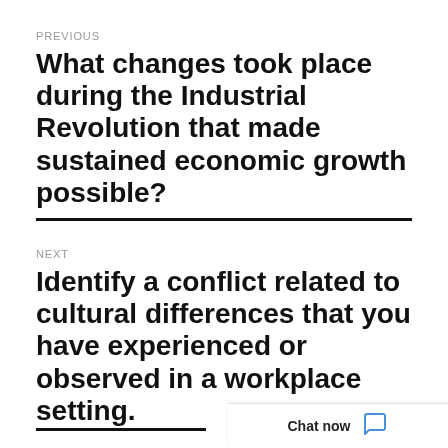PREVIOUS
What changes took place during the Industrial Revolution that made sustained economic growth possible?
NEXT
Identify a conflict related to cultural differences that you have experienced or observed in a workplace setting.